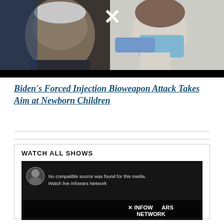[Figure (photo): Composite image showing an older man (Biden) on the left and a young girl wearing a blue medical mask receiving an injection on the right, with a large white X overlaid in the center top]
Biden's Forced Injection Bioweapon Attack Takes Aim at Newborn Children
WATCH ALL SHOWS
[Figure (screenshot): Video thumbnail showing a man in a circular avatar on the left, overlapping text reading 'No compatible source was found for this media.' and 'Watch live Infowars Network', dark background with X INFOWARS NETWORK logo at bottom right]